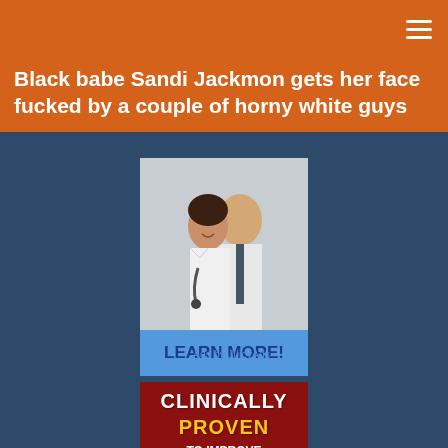Black babe Sandi Jackmon gets her face fucked by a couple of horny white guys
[Figure (photo): Advertisement showing two medical professionals in white lab coats with stethoscopes, with a 'LEARN MORE!' button below in blue]
Ads by JuicyAds
[Figure (infographic): Advertisement with dark red background showing text: CLINICALLY PROVEN TO IMPROVE ERECTILE QUALITY BY 58.97%]